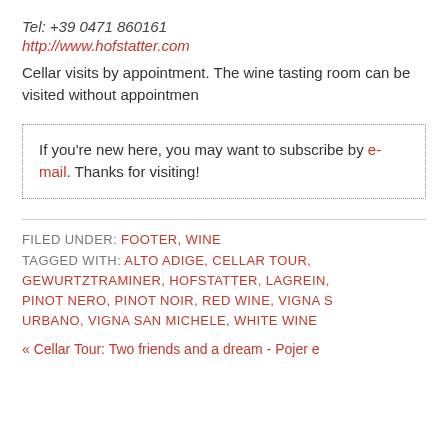Tel: +39 0471 860161
http://www.hofstatter.com
Cellar visits by appointment. The wine tasting room can be visited without appointmen
If you're new here, you may want to subscribe by e-mail. Thanks for visiting!
FILED UNDER: FOOTER, WINE
TAGGED WITH: ALTO ADIGE, CELLAR TOUR, GEWURTZTRAMINER, HOFSTATTER, LAGREIN, PINOT NERO, PINOT NOIR, RED WINE, VIGNA S URBANO, VIGNA SAN MICHELE, WHITE WINE
« Cellar Tour: Two friends and a dream - Pojer e